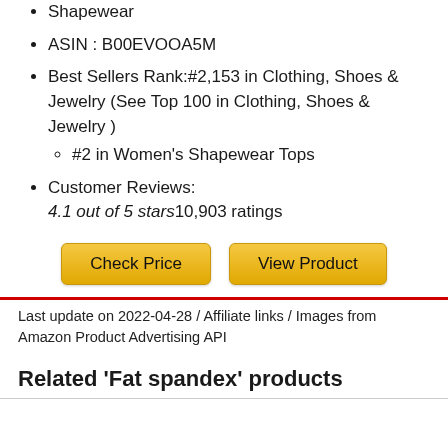Manufacturer : Flexees Women's #1 Shapewear
ASIN : B00EVOOA5M
Best Sellers Rank:#2,153 in Clothing, Shoes & Jewelry (See Top 100 in Clothing, Shoes & Jewelry )
  #2 in Women's Shapewear Tops
Customer Reviews:
4.1 out of 5 stars10,903 ratings
[Figure (other): Two yellow buttons: 'Check Price' and 'View Product']
Last update on 2022-04-28 / Affiliate links / Images from Amazon Product Advertising API
Related 'Fat spandex' products